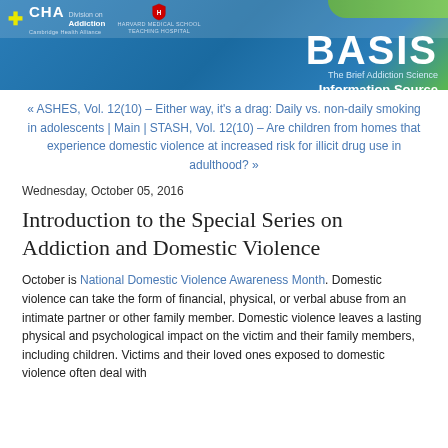[Figure (logo): BASIS - The Brief Addiction Science Information Source header banner with CHA Division on Addiction and Harvard Medical School Teaching Hospital logos]
« ASHES, Vol. 12(10) – Either way, it's a drag: Daily vs. non-daily smoking in adolescents | Main | STASH, Vol. 12(10) – Are children from homes that experience domestic violence at increased risk for illicit drug use in adulthood? »
Wednesday, October 05, 2016
Introduction to the Special Series on Addiction and Domestic Violence
October is National Domestic Violence Awareness Month. Domestic violence can take the form of financial, physical, or verbal abuse from an intimate partner or other family member. Domestic violence leaves a lasting physical and psychological impact on the victim and their family members, including children. Victims and their loved ones exposed to domestic violence often deal with